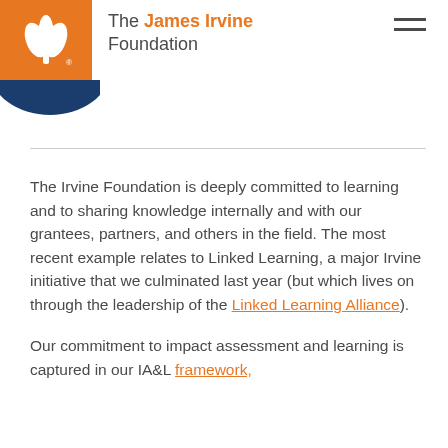[Figure (logo): The James Irvine Foundation logo: white tulip/flower icon on orange background with 'The James Irvine Foundation' text in gray and orange]
The Irvine Foundation is deeply committed to learning and to sharing knowledge internally and with our grantees, partners, and others in the field. The most recent example relates to Linked Learning, a major Irvine initiative that we culminated last year (but which lives on through the leadership of the Linked Learning Alliance).
Our commitment to impact assessment and learning is captured in our IA&L framework,